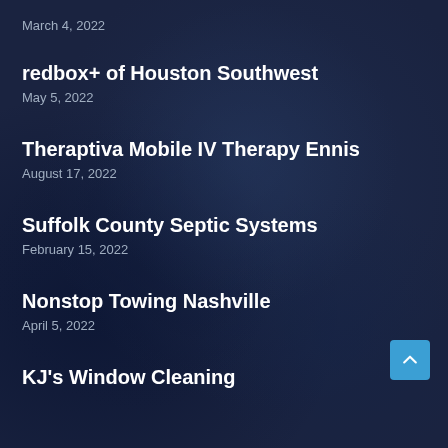March 4, 2022
redbox+ of Houston Southwest
May 5, 2022
Theraptiva Mobile IV Therapy Ennis
August 17, 2022
Suffolk County Septic Systems
February 15, 2022
Nonstop Towing Nashville
April 5, 2022
KJ's Window Cleaning